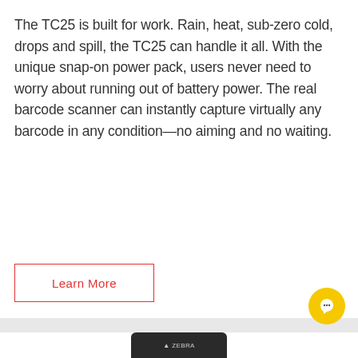The TC25 is built for work. Rain, heat, sub-zero cold, drops and spill, the TC25 can handle it all. With the unique snap-on power pack, users never need to worry about running out of battery power. The real barcode scanner can instantly capture virtually any barcode in any condition—no aiming and no waiting.
Learn More
[Figure (photo): A Zebra device shown at the bottom of the page with a gray bar background]